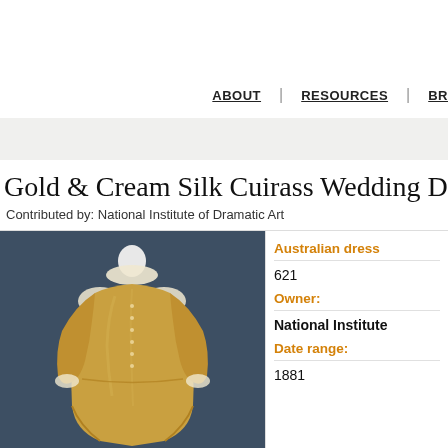ABOUT | RESOURCES | BR
Gold & Cream Silk Cuirass Wedding Dress &
Contributed by: National Institute of Dramatic Art
[Figure (photo): A gold and cream silk cuirass wedding dress displayed on a mannequin against a dark blue-grey background. The dress features ornate cream lace details at the collar and shoulders, small buttons down the front, and long fitted sleeves.]
Australian dress
621
Owner:
National Institute
Date range:
1881